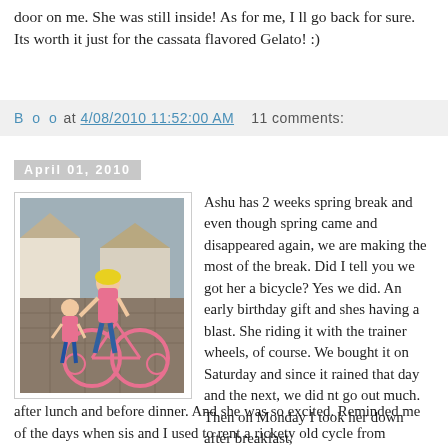door on me. She was still inside! As for me, I ll go back for sure. Its worth it just for the cassata flavored Gelato! :)
B o o at 4/08/2010 11:52:00 AM    11 comments:
April 01, 2010
[Figure (photo): Two young girls with a pink bicycle with training wheels, outdoors on a paved area with houses in background. The older girl wears a yellow helmet and pink jacket, the younger girl stands beside the bike.]
Ashu has 2 weeks spring break and even though spring came and disappeared again, we are making the most of the break. Did I tell you we got her a bicycle? Yes we did. An early birthday gift and shes having a blast. She riding it with the trainer wheels, of course. We bought it on Saturday and since it rained that day and the next, we did nt go out much. Then on Monday I took her down after breakfast, after lunch and before dinner. And she was so excited. Reminded me of the days when sis and I used to rent a rickety old cycle from